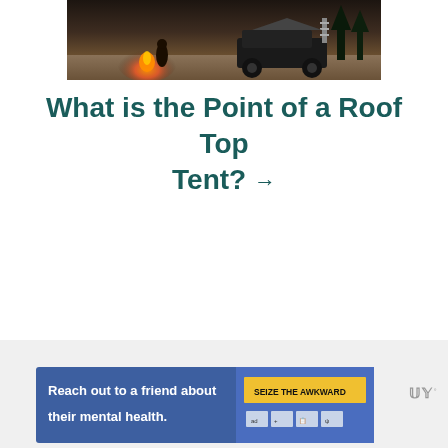[Figure (photo): Campsite scene at dusk showing a fire and a Jeep with a rooftop tent setup on sandy/dirt terrain]
What is the Point of a Roof Top Tent? →
[Figure (infographic): Advertisement banner: 'Reach out to a friend about their mental health.' with SEIZE THE AWKWARD branding and logos, alongside a site wordmark]